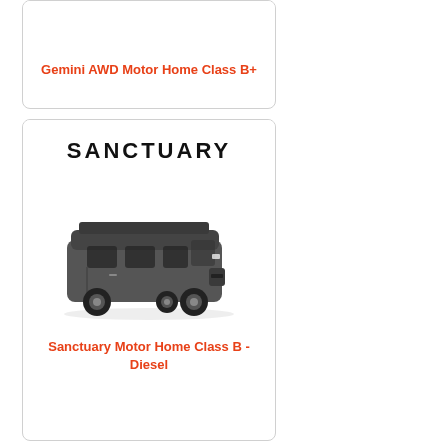[Figure (illustration): Top portion of a product card for Gemini AWD Motor Home Class B+, partially cut off at top]
Gemini AWD Motor Home Class B+
[Figure (illustration): Product card showing SANCTUARY logo text and a dark gray van/motor home vehicle image]
Sanctuary Motor Home Class B - Diesel
[Figure (illustration): Bottom portion of a third product card, partially cut off at bottom]